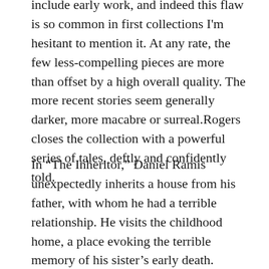include early work, and indeed this flaw is so common in first collections I'm hesitant to mention it. At any rate, the few less-compelling pieces are more than offset by a high overall quality. The more recent stories seem generally darker, more macabre or surreal.Rogers closes the collection with a powerful series of tales, deftly and confidently told.
In “The Inheritor,” Daniel Ramis unexpectedly inherits a house from his father, with whom he had a terrible relationship. He visits the childhood home, a place evoking the terrible memory of his sister’s early death. Daniel always thought his father had sold the house when he moved, and can’t understand why he’d held onto it. Along with the house, Daniel is also left